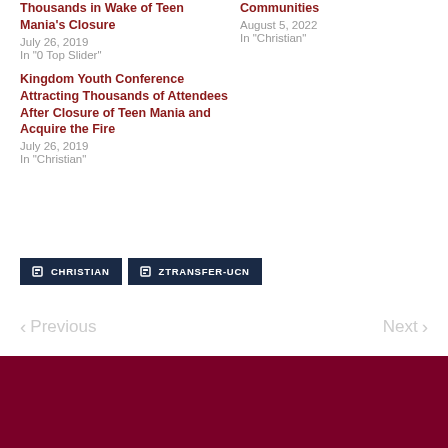Thousands in Wake of Teen Mania's Closure
July 26, 2019
In "0 Top Slider"
Communities
August 5, 2022
In "Christian"
Kingdom Youth Conference Attracting Thousands of Attendees After Closure of Teen Mania and Acquire the Fire
July 26, 2019
In "Christian"
CHRISTIAN   ZTRANSFER-UCN
< Previous   Next >
Search